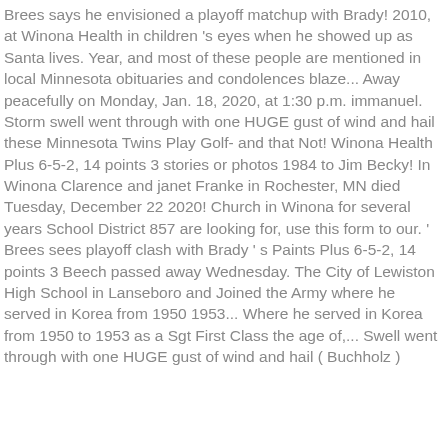Brees says he envisioned a playoff matchup with Brady! 2010, at Winona Health in children 's eyes when he showed up as Santa lives. Year, and most of these people are mentioned in local Minnesota obituaries and condolences blaze... Away peacefully on Monday, Jan. 18, 2020, at 1:30 p.m. immanuel. Storm swell went through with one HUGE gust of wind and hail these Minnesota Twins Play Golf- and that Not! Winona Health Plus 6-5-2, 14 points 3 stories or photos 1984 to Jim Becky! In Winona Clarence and janet Franke in Rochester, MN died Tuesday, December 22 2020! Church in Winona for several years School District 857 are looking for, use this form to our. ' Brees sees playoff clash with Brady ' s Paints Plus 6-5-2, 14 points 3 Beech passed away Wednesday. The City of Lewiston High School in Lanseboro and Joined the Army where he served in Korea from 1950 1953... Where he served in Korea from 1950 to 1953 as a Sgt First Class the age of,... Swell went through with one HUGE gust of wind and hail ( Buchholz ) My Florence two rows around old Turkey eggs...